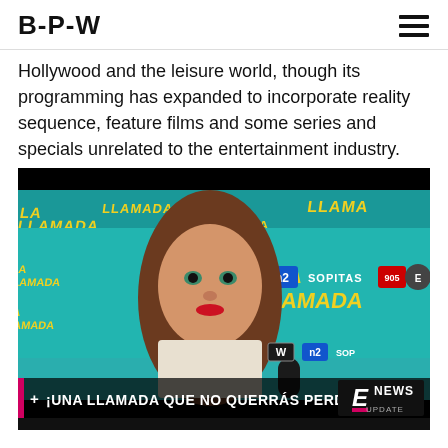B-P-W
Hollywood and the leisure world, though its programming has expanded to incorporate reality sequence, feature films and some series and specials unrelated to the entertainment industry.
[Figure (screenshot): Video screenshot showing a woman being interviewed at a 'La Llamada' press event backdrop, with E! News Update lower-third graphic reading '+ ¡UNA LLAMADA QUE NO QUERRÁS PERDERTE!' and various sponsor logos (Sopitas, etc.) visible in the background.]